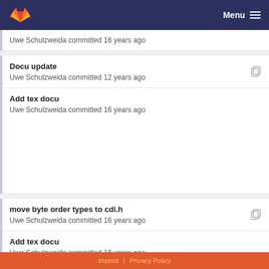GitLab — Menu
Uwe Schulzweida committed 16 years ago
Docu update
Uwe Schulzweida committed 12 years ago
Add tex docu
Uwe Schulzweida committed 16 years ago
move byte order types to cdi.h
Uwe Schulzweida committed 16 years ago
Add tex docu
Uwe Schulzweida committed 16 years ago
Imprint | Privacy Policy